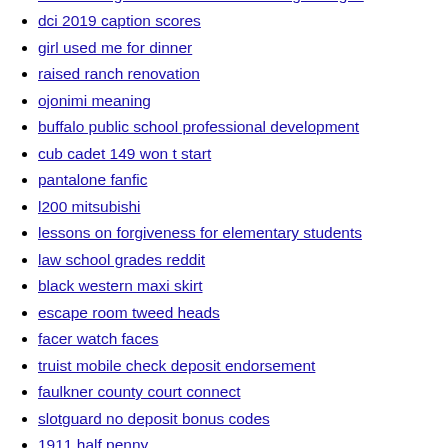colorado high school football coaching changes
dci 2019 caption scores
girl used me for dinner
raised ranch renovation
ojonimi meaning
buffalo public school professional development
cub cadet 149 won t start
pantalone fanfic
l200 mitsubishi
lessons on forgiveness for elementary students
law school grades reddit
black western maxi skirt
escape room tweed heads
facer watch faces
truist mobile check deposit endorsement
faulkner county court connect
slotguard no deposit bonus codes
1911 half penny
why did my text messages turn from blue to green
concentration calculations questions
twilight fanfiction bella is a werecat
vuity cost walmart
worst priest ever
noosa river mooring for sale
qled hurts my eyes
the adventure begins somewhere...